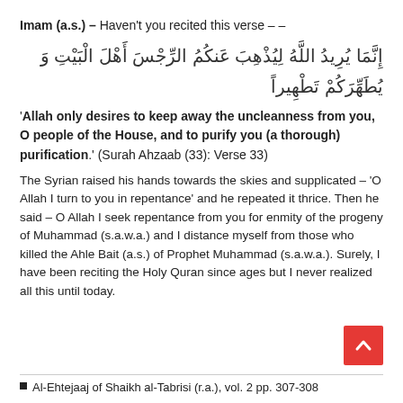Imam (a.s.) – Haven't you recited this verse – –
إِنَّمَا يُرِيدُ اللَّهُ لِيُذْهِبَ عَنكُمُ الرِّجْسَ أَهْلَ الْبَيْتِ وَ يُطَهِّرَكُمْ تَطْهِيراً
'Allah only desires to keep away the uncleanness from you, O people of the House, and to purify you (a thorough) purification.' (Surah Ahzaab (33): Verse 33)
The Syrian raised his hands towards the skies and supplicated – 'O Allah I turn to you in repentance' and he repeated it thrice. Then he said – O Allah I seek repentance from you for enmity of the progeny of Muhammad (s.a.w.a.) and I distance myself from those who killed the Ahle Bait (a.s.) of Prophet Muhammad (s.a.w.a.). Surely, I have been reciting the Holy Quran since ages but I never realized all this until today.
Al-Ehtejaaj of Shaikh al-Tabrisi (r.a.), vol. 2 pp. 307-308